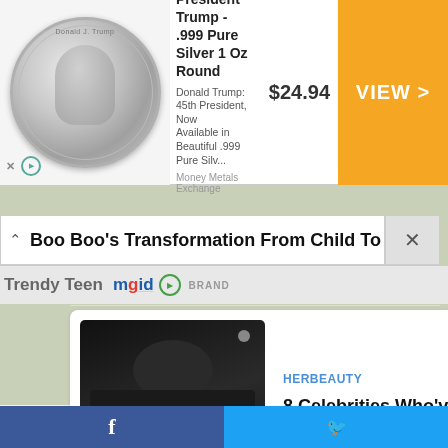[Figure (screenshot): Advertisement banner for President Trump .999 Pure Silver 1 Oz Round coin, showing coin image, price $24.94, and orange VIEW button]
President Trump - .999 Pure Silver 1 Oz Round
Donald Trump: 45th President, Now Available in Beautiful .999 Pure Silv...
Money Metals Exchange
$24.94
VIEW >
[Figure (screenshot): Boo Boo's Transformation From Child To Trendy Teen headline bar with close button and mgid logo]
Boo Boo's Transformation From Child To Trendy Teen
mgid
BRANDPOINT
[Figure (screenshot): HERBEAUTY article card: 8 Celebrities Who've Lost Their Fandoms with photo of man in black]
HERBEAUTY
8 Celebrities Who've Lost Their Fandoms
[Figure (screenshot): HERBEAUTY article card: Everything You Need To Know About This Two-Hour Procedure with close-up cosmetic procedure image]
HERBEAUTY
Everything You Need To Know About This Two-Hour Procedure
[Figure (screenshot): Social share bar with Facebook and Twitter buttons at the bottom]